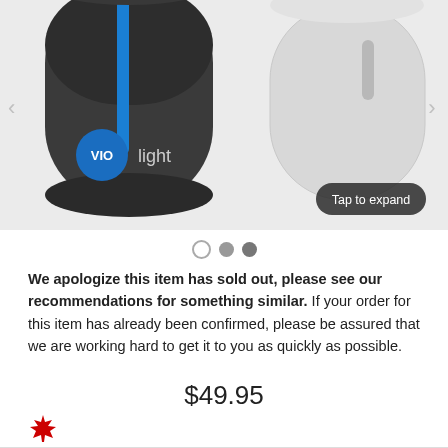[Figure (photo): Product photo showing two device variants - a dark grey/black cylindrical device with blue stripe and 'VIO light' logo on the left, and a silver/white cylindrical device on the right. A 'Tap to expand' tooltip is visible in the lower center of the image. Navigation arrows appear on left and right edges.]
We apologize this item has sold out, please see our recommendations for something similar. If your order for this item has already been confirmed, please be assured that we are working hard to get it to you as quickly as possible.
$49.95
[Figure (illustration): Canadian maple leaf icon in red]